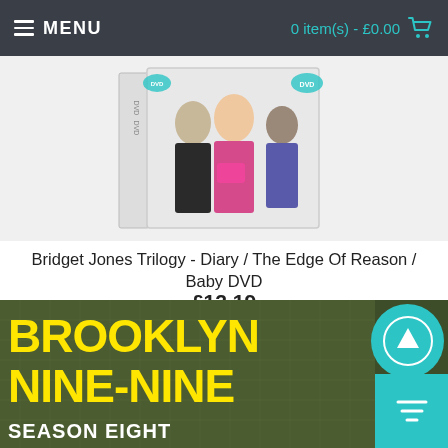MENU  0 item(s) - £0.00
[Figure (photo): Bridget Jones Trilogy DVD box set product image showing characters on the cover]
Bridget Jones Trilogy - Diary / The Edge Of Reason / Baby DVD
£12.19
[Figure (logo): DVD logo]
Add to Cart
[Figure (photo): Brooklyn Nine-Nine Season Eight DVD product image with yellow text on dark background]